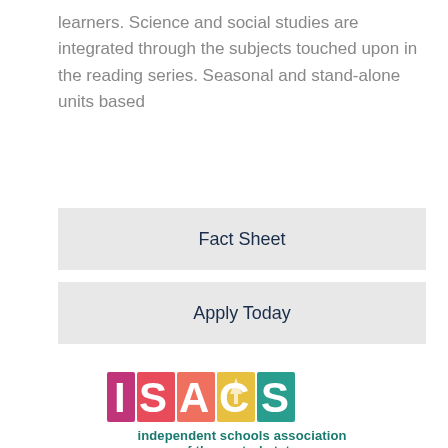learners. Science and social studies are integrated through the subjects touched upon in the reading series. Seasonal and stand-alone units based
Fact Sheet
Apply Today
[Figure (logo): ISAACS - independent schools association of the central states logo with colorful block letters]